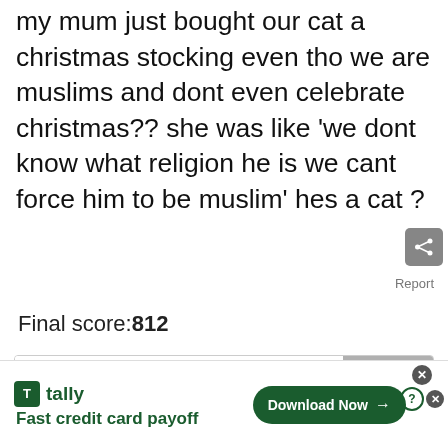my mum just bought our cat a christmas stocking even tho we are muslims and dont even celebrate christmas?? she was like 'we dont know what religion he is we cant force him to be muslim' hes a cat ?
Report
Final score:812
Add a comment...
POST
Kjorn  5 years ago
he must be a CATholie
[Figure (screenshot): Tally app advertisement banner: green Tally logo icon, text 'tally' and 'Fast credit card payoff', with a green 'Download Now' button with arrow, and close/help buttons in corner]